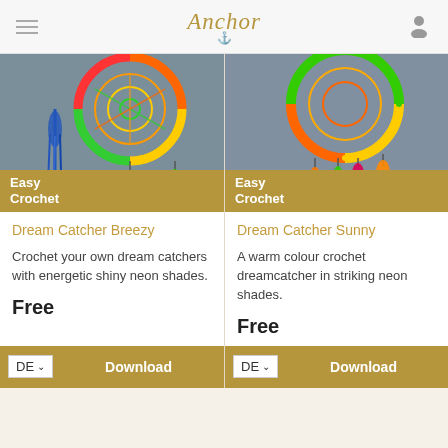Anchor
[Figure (photo): Colourful crochet dream catcher with blue, orange, yellow, and green thread against a grey background, with hanging tassels]
Easy Crochet
Dream Catcher Breezy
Crochet your own dream catchers with energetic shiny neon shades.
Free
[Figure (photo): Colourful crochet dream catcher with orange, red, green and pink tassels against a grey background]
Easy Crochet
Dream Catcher Sunny
A warm colour crochet dreamcatcher in striking neon shades.
Free